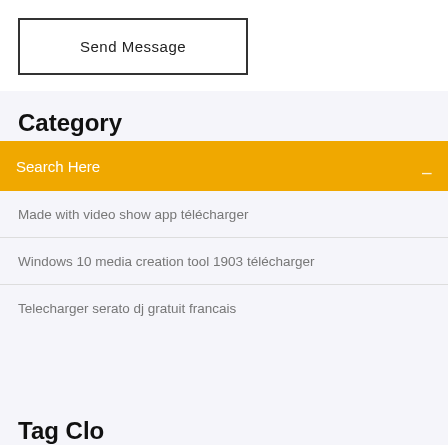Send Message
Category
Search Here
Made with video show app télécharger
Windows 10 media creation tool 1903 télécharger
Telecharger serato dj gratuit francais
Tag Cloud